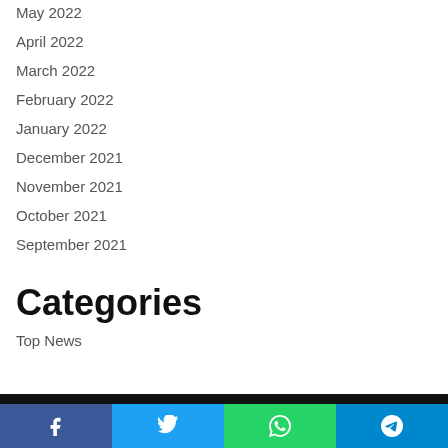May 2022
April 2022
March 2022
February 2022
January 2022
December 2021
November 2021
October 2021
September 2021
Categories
Top News
Social share bar: Facebook, Twitter, WhatsApp, Telegram